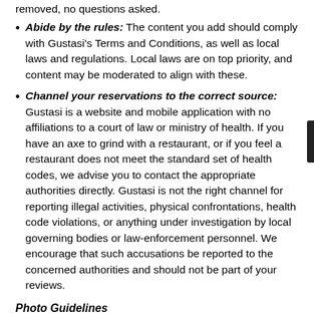removed, no questions asked.
Abide by the rules: The content you add should comply with Gustasi's Terms and Conditions, as well as local laws and regulations. Local laws are on top priority, and content may be moderated to align with these.
Channel your reservations to the correct source: Gustasi is a website and mobile application with no affiliations to a court of law or ministry of health. If you have an axe to grind with a restaurant, or if you feel a restaurant does not meet the standard set of health codes, we advise you to contact the appropriate authorities directly. Gustasi is not the right channel for reporting illegal activities, physical confrontations, health code violations, or anything under investigation by local governing bodies or law-enforcement personnel. We encourage that such accusations be reported to the concerned authorities and should not be part of your reviews.
Photo Guidelines
Subject disclaimer: At a minimum, the